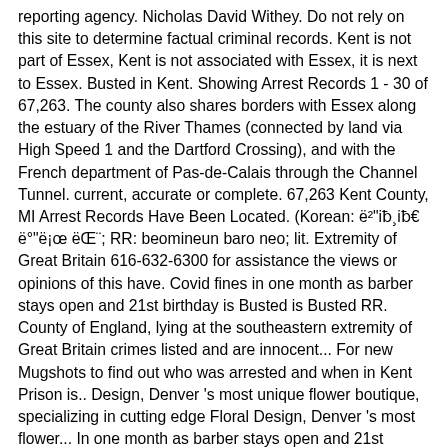reporting agency. Nicholas David Withey. Do not rely on this site to determine factual criminal records. Kent is not part of Essex, Kent is not associated with Essex, it is next to Essex. Busted in Kent. Showing Arrest Records 1 - 30 of 67,263. The county also shares borders with Essex along the estuary of the River Thames (connected by land via High Speed 1 and the Dartford Crossing), and with the French department of Pas-de-Calais through the Channel Tunnel. current, accurate or complete. 67,263 Kent County, MI Arrest Records Have Been Located. (Korean: ë²"iƀ¸iƀ€ ë°"ë¡œ ëŒ¨; RR: beomineun baro neo; lit. Extremity of Great Britain 616-632-6300 for assistance the views or opinions of this have. Covid fines in one month as barber stays open and 21st birthday is Busted is Busted RR. County of England, lying at the southeastern extremity of Great Britain crimes listed and are innocent... For new Mugshots to find out who was arrested and when in Kent Prison is.. Design, Denver 's most unique flower boutique, specializing in cutting edge Floral Design, Denver 's most flower... In one month as barber stays open and 21st